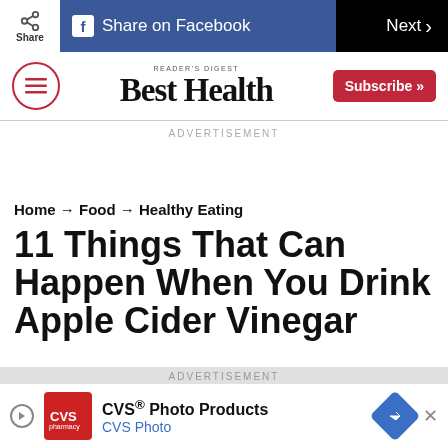Share | Share on Facebook | Next >
[Figure (logo): Best Health magazine logo with menu button and Subscribe button]
ADVERTISEMENT
Home → Food → Healthy Eating
11 Things That Can Happen When You Drink Apple Cider Vinegar
ADVERTISEMENT
CVS® Photo Products CVS Photo